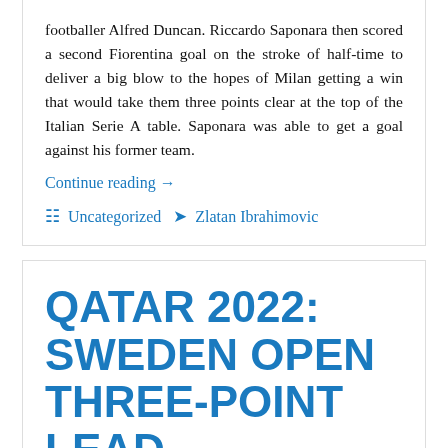footballer Alfred Duncan. Riccardo Saponara then scored a second Fiorentina goal on the stroke of half-time to deliver a big blow to the hopes of Milan getting a win that would take them three points clear at the top of the Italian Serie A table. Saponara was able to get a goal against his former team.
Continue reading →
Uncategorized  Zlatan Ibrahimovic
QATAR 2022: SWEDEN OPEN THREE-POINT LEAD
Posted on October 29, 2021 by index